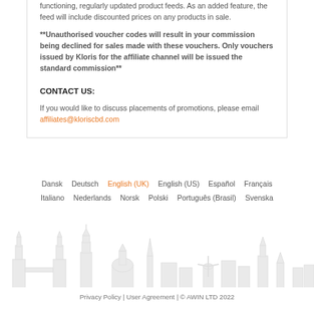functioning, regularly updated product feeds. As an added feature, the feed will include discounted prices on any products in sale.
**Unauthorised voucher codes will result in your commission being declined for sales made with these vouchers. Only vouchers issued by Kloris for the affiliate channel will be issued the standard commission**
CONTACT US:
If you would like to discuss placements of promotions, please email affiliates@kloriscbd.com
Dansk   Deutsch   English (UK)   English (US)   Español   Français   Italiano   Nederlands   Norsk   Polski   Português (Brasil)   Svenska
[Figure (illustration): Faint grey skyline silhouette of European city landmarks across the full page width]
Privacy Policy | User Agreement | © AWIN LTD 2022